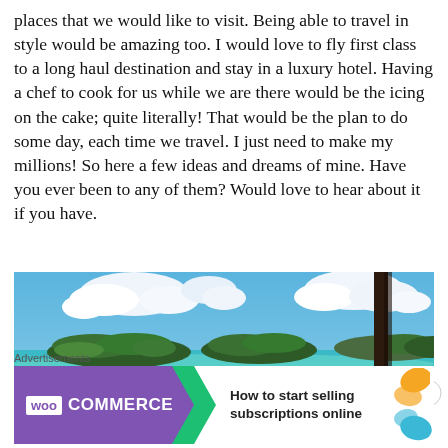places that we would like to visit. Being able to travel in style would be amazing too. I would love to fly first class to a long haul destination and stay in a luxury hotel. Having a chef to cook for us while we are there would be the icing on the cake; quite literally! That would be the plan to do some day, each time we travel. I just need to make my millions! So here a few ideas and dreams of mine. Have you ever been to any of them? Would love to hear about it if you have.
[Figure (photo): Tropical island scene viewed from a shaded structure, showing turquoise water, green islands, and blue sky with white clouds]
Advertisements
[Figure (other): WooCommerce advertisement banner: purple box with WooCommerce logo, green arrow, text 'How to start selling subscriptions online', orange and blue decorative shapes]